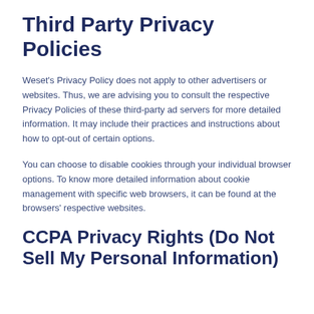Third Party Privacy Policies
Weset’s Privacy Policy does not apply to other advertisers or websites. Thus, we are advising you to consult the respective Privacy Policies of these third-party ad servers for more detailed information. It may include their practices and instructions about how to opt-out of certain options.
You can choose to disable cookies through your individual browser options. To know more detailed information about cookie management with specific web browsers, it can be found at the browsers’ respective websites.
CCPA Privacy Rights (Do Not Sell My Personal Information)